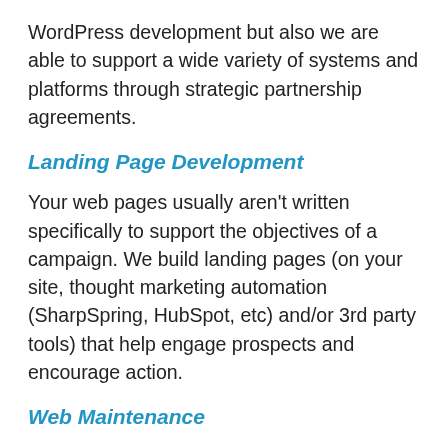WordPress development but also we are able to support a wide variety of systems and platforms through strategic partnership agreements.
Landing Page Development
Your web pages usually aren't written specifically to support the objectives of a campaign. We build landing pages (on your site, thought marketing automation (SharpSpring, HubSpot, etc) and/or 3rd party tools) that help engage prospects and encourage action.
Web Maintenance
Marketing objectives don't always align with the objectives of your IT team. We can help keep your